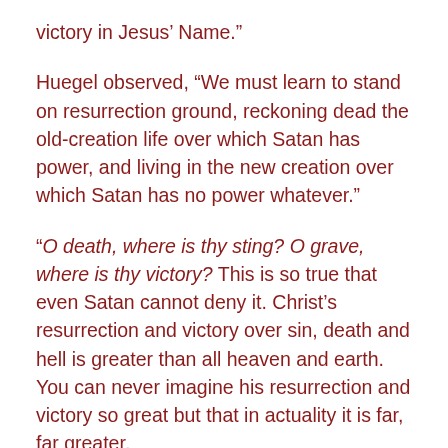victory in Jesus’ Name.”
Huegel observed, “We must learn to stand on resurrection ground, reckoning dead the old-creation life over which Satan has power, and living in the new creation over which Satan has no power whatever.”
“O death, where is thy sting? O grave, where is thy victory? This is so true that even Satan cannot deny it. Christ’s resurrection and victory over sin, death and hell is greater than all heaven and earth. You can never imagine his resurrection and victory so great but that in actuality it is far, far greater.
Some will tell you that triumph will come by the development of human beings–the gradual evolution of their potentialities. We should just give it time, wait and